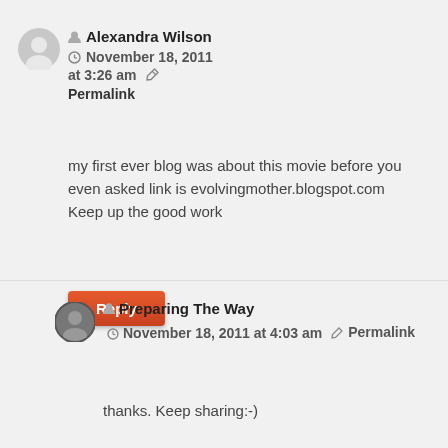[Figure (illustration): Gray generic user avatar circle icon for Alexandra Wilson]
Alexandra Wilson — November 18, 2011 at 3:26 am — Permalink
my first ever blog was about this movie before you even asked link is evolvingmother.blogspot.com Keep up the good work
Reply
[Figure (photo): Small circular avatar photo for Preparing The Way]
Preparing The Way — November 18, 2011 at 4:03 am — Permalink
thanks. Keep sharing:-)